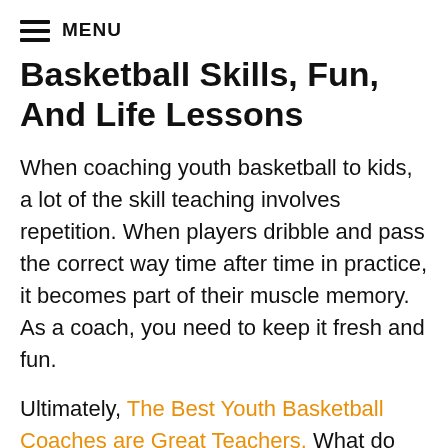MENU
Basketball Skills, Fun, And Life Lessons
When coaching youth basketball to kids, a lot of the skill teaching involves repetition. When players dribble and pass the correct way time after time in practice, it becomes part of their muscle memory. As a coach, you need to keep it fresh and fun.
Ultimately, The Best Youth Basketball Coaches are Great Teachers. What do great teachers do? They prepare and plan. They come ready to class. Great coaches assess